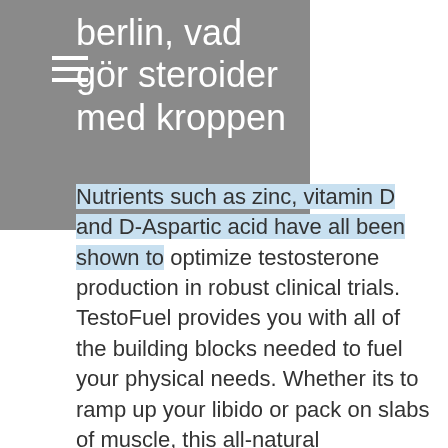berlin, vad gör steroider med kroppen
Nutrients such as zinc, vitamin D and D-Aspartic acid have all been shown to optimize testosterone production in robust clinical trials. TestoFuel provides you with all of the building blocks needed to fuel your physical needs. Whether its to ramp up your libido or pack on slabs of muscle, this all-natural supplementation will optimize masculinity, linda hamilton bodybuilding. Webmd Testosterone Boosters Lxw Male Enhancement What Men Should Test For Testosterone, linda hamilton bodybuilding. Response choices included 1) no help needed, independent; 2) uses device, independent; 3) human assistance needed, minimally dependent; 4) dependent; and 5) do not do during a normal day, köpa testosteron tabletter donde comprar winstrol